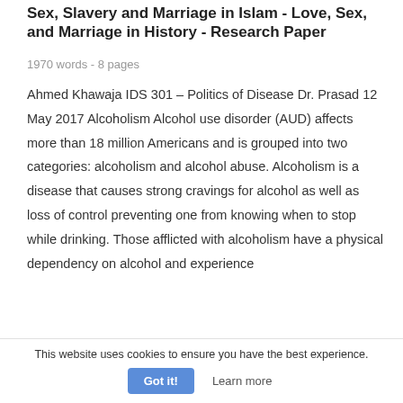Sex, Slavery and Marriage in Islam - Love, Sex, and Marriage in History - Research Paper
1970 words - 8 pages
Ahmed Khawaja IDS 301 – Politics of Disease Dr. Prasad 12 May 2017 Alcoholism Alcohol use disorder (AUD) affects more than 18 million Americans and is grouped into two categories: alcoholism and alcohol abuse. Alcoholism is a disease that causes strong cravings for alcohol as well as loss of control preventing one from knowing when to stop while drinking. Those afflicted with alcoholism have a physical dependency on alcohol and experience
This website uses cookies to ensure you have the best experience.
Got it!  Learn more